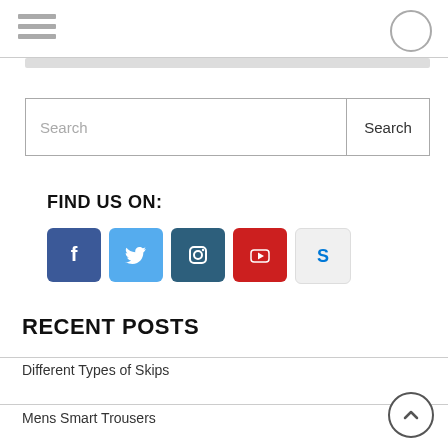Navigation bar with hamburger menu and circle button
[Figure (screenshot): Search input field with Search button]
FIND US ON:
[Figure (infographic): Social media icons: Facebook, Twitter, Instagram, YouTube, Skype]
RECENT POSTS
Different Types of Skips
Mens Smart Trousers